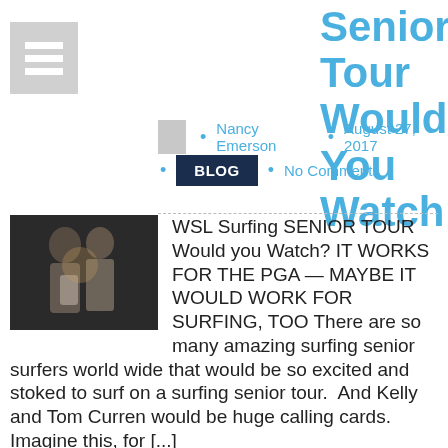Senior Tour Would You Watch
Nancy Emerson • August 27, 2017
BLOG • No Comments
[Figure (photo): Two people holding a surfing trophy]
WSL Surfing SENIOR TOUR Would you Watch? IT WORKS FOR THE PGA — MAYBE IT WOULD WORK FOR SURFING, TOO There are so many amazing surfing senior surfers world wide that would be so excited and stoked to surf on a surfing senior tour. And Kelly and Tom Curren would be huge calling cards. Imagine this, for [...]